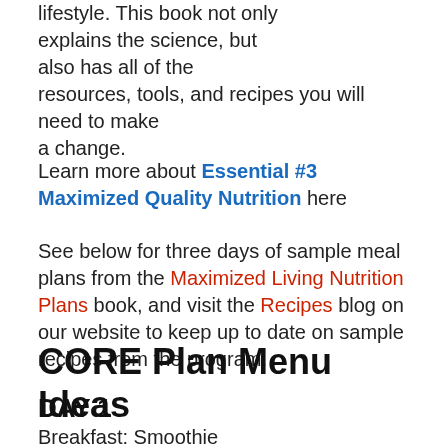lifestyle. This book not only explains the science, but also has all of the resources, tools, and recipes you will need to make a change.
Learn more about Essential #3 Maximized Quality Nutrition here
See below for three days of sample meal plans from the Maximized Living Nutrition Plans book, and visit the Recipes blog on our website to keep up to date on sample recipes from the program.
CORE Plan Menu Ideas
DAY 1
Breakfast: Smoothie